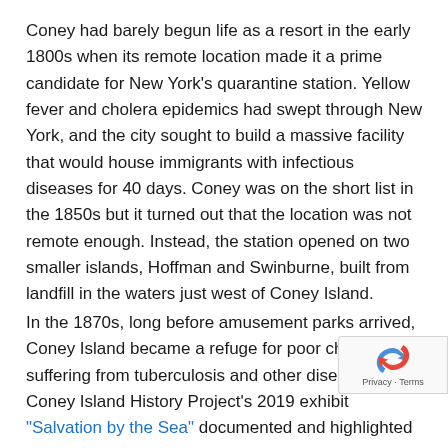Coney had barely begun life as a resort in the early 1800s when its remote location made it a prime candidate for New York's quarantine station. Yellow fever and cholera epidemics had swept through New York, and the city sought to build a massive facility that would house immigrants with infectious diseases for 40 days. Coney was on the short list in the 1850s but it turned out that the location was not remote enough. Instead, the station opened on two smaller islands, Hoffman and Swinburne, built from landfill in the waters just west of Coney Island.
In the 1870s, long before amusement parks arrived, Coney Island became a refuge for poor children suffering from tuberculosis and other diseases. The Coney Island History Project's 2019 exhibit "Salvation by the Sea" documented and highlighted the work of the Children's Aid Societies and the other shorefront summer homes built along the beach. These charitable homes and hospitals, supported by New York's wealthiest residents, became the island's largest landown...